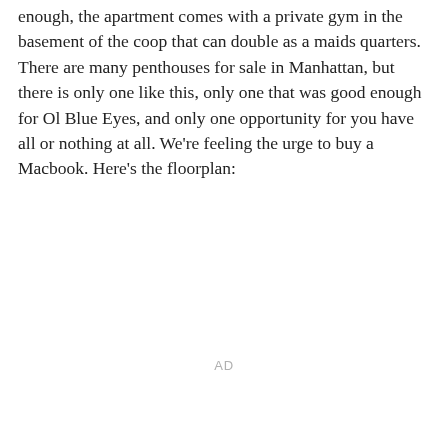enough, the apartment comes with a private gym in the basement of the coop that can double as a maids quarters. There are many penthouses for sale in Manhattan, but there is only one like this, only one that was good enough for Ol Blue Eyes, and only one opportunity for you have all or nothing at all. We're feeling the urge to buy a Macbook. Here's the floorplan:
AD